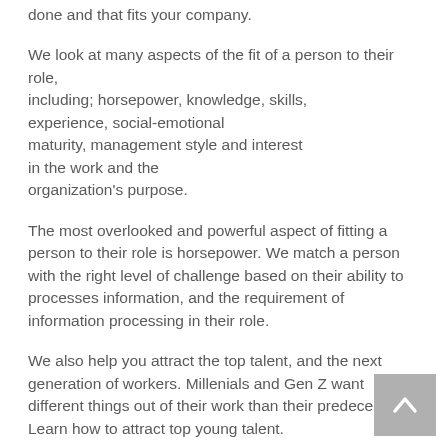done and that fits your company.
We look at many aspects of the fit of a person to their role, including; horsepower, knowledge, skills, experience, social-emotional maturity, management style and interest in the work and the organization's purpose.
The most overlooked and powerful aspect of fitting a person to their role is horsepower. We match a person with the right level of challenge based on their ability to processes information, and the requirement of information processing in their role.
We also help you attract the top talent, and the next generation of workers. Millenials and Gen Z want different things out of their work than their predecessors. Learn how to attract top young talent.